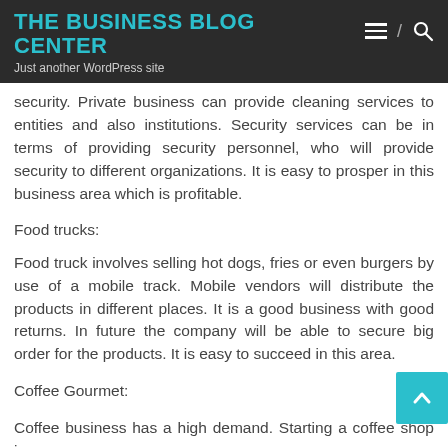THE BUSINESS BLOG CENTER
Just another WordPress site
security. Private business can provide cleaning services to entities and also institutions. Security services can be in terms of providing security personnel, who will provide security to different organizations. It is easy to prosper in this business area which is profitable.
Food trucks:
Food truck involves selling hot dogs, fries or even burgers by use of a mobile track. Mobile vendors will distribute the products in different places. It is a good business with good returns. In future the company will be able to secure big order for the products. It is easy to succeed in this area.
Coffee Gourmet:
Coffee business has a high demand. Starting a coffee shop in a